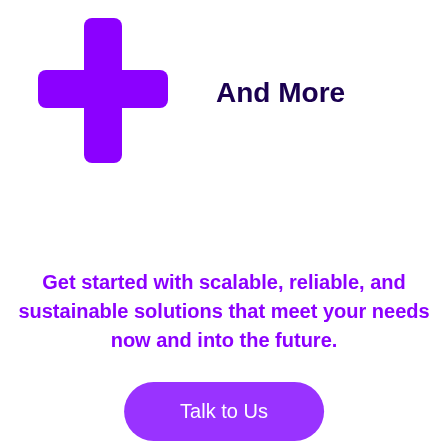[Figure (illustration): Large purple plus/cross symbol icon in the upper left area of the page]
And More
Get started with scalable, reliable, and sustainable solutions that meet your needs now and into the future.
Talk to Us